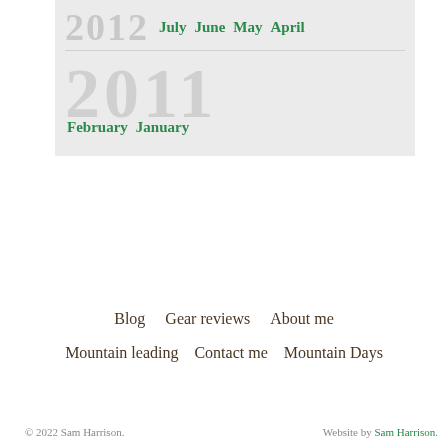July  June  May  April
2011  February  January
Blog  Gear reviews  About me
Mountain leading  Contact me  Mountain Days
© 2022 Sam Harrison.
Website by Sam Harrison.